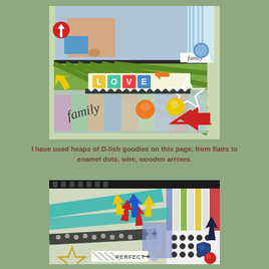[Figure (photo): Close-up scrapbook layout photo showing a colorful page with family photo at top, 'LOVE' letter tiles, colorful arrows, enamel dots, wire star, flair buttons, and the word 'family' in cursive. Bright colors including red, yellow, green, orange, and teal on patterned backgrounds.]
I have used heaps of D-lish goodies on this page, from flairs to enamel dots, wire, wooden arrows.
[Figure (photo): Close-up scrapbook layout detail photo showing colorful arrows in red, yellow, and blue, washi tape strips in teal, patterned papers with dots and stripes, bubble embellishments, a gold wire star, and a tag reading 'PERFECT' with an arrow.]